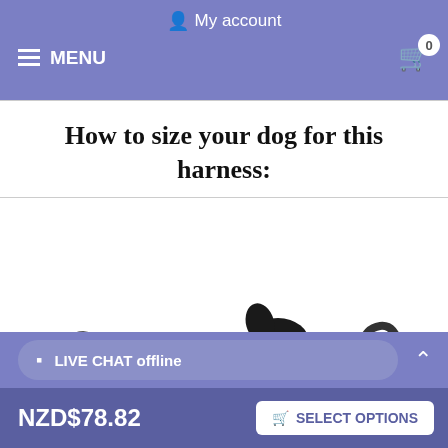My account
MENU
How to size your dog for this harness:
[Figure (illustration): A black silhouette of a dog in profile with a red band around its girth area, labeled 'Girth' with an arrow. Next to it is a photo of a black and red dog harness with a patch that reads 'IN TRAINING'.]
LIVE CHAT offline
NZD$78.82
SELECT OPTIONS